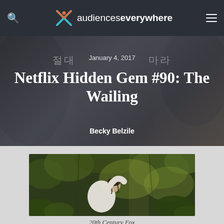audiences everywhere
January 4, 2017
Netflix Hidden Gem #90: The Wailing
Becky Belzile
[Figure (photo): Person in white garment crouching in jungle/forest foliage, looking back over shoulder]
20th Century Fox